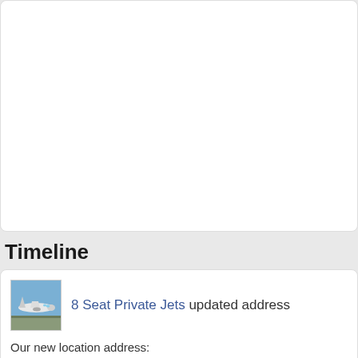[Figure (other): White card area (top portion, mostly blank white rectangle with rounded corners)]
Timeline
[Figure (photo): Small thumbnail photo of a private jet airplane on runway]
8 Seat Private Jets updated address
Our new location address:
100 W Grant St #6092, Orlando, Florida, 32806,
[unreadable text in non-Latin script]